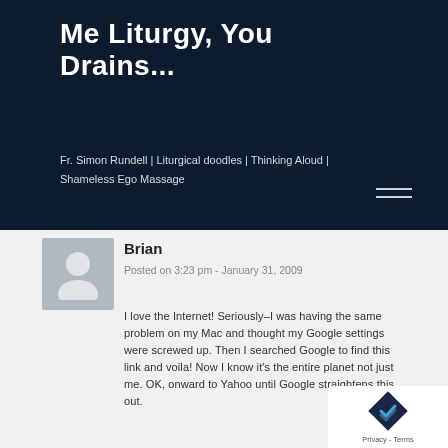Me Liturgy, You Drains...
Fr. Simon Rundell | Liturgical doodles | Thinking Aloud | Shameless Ego Massage
Brian
Posted on 3:23 pm - January 31, 2009
I love the Internet! Seriously–I was having the same problem on my Mac and thought my Google settings were screwed up. Then I searched Google to find this link and voila! Now I know it's the entire planet not just me. OK, onward to Yahoo until Google straightens this out.